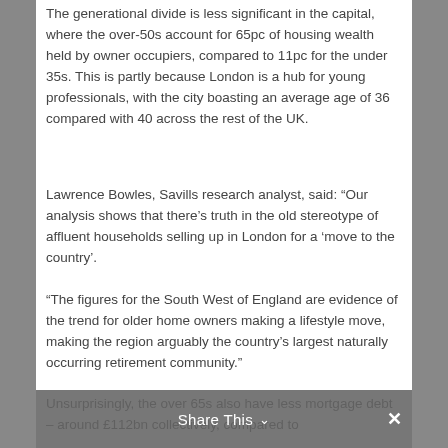The generational divide is less significant in the capital, where the over-50s account for 65pc of housing wealth held by owner occupiers, compared to 11pc for the under 35s. This is partly because London is a hub for young professionals, with the city boasting an average age of 36 compared with 40 across the rest of the UK.
Lawrence Bowles, Savills research analyst, said: “Our analysis shows that there’s truth in the old stereotype of affluent households selling up in London for a ‘move to the country’.
“The figures for the South West of England are evidence of the trend for older home owners making a lifestyle move, making the region arguably the country’s largest naturally occurring retirement community.”
Unsurprisingly, the over 65s also have less mortgage debt – around £112bn collectively, compared to